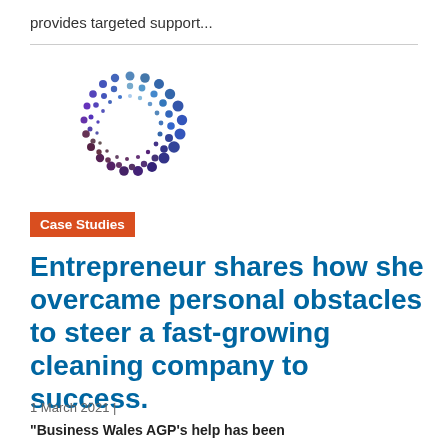provides targeted support...
[Figure (logo): Circular dotted logo made of small dots arranged in a ring pattern, colored in shades of blue and purple, resembling the Business Wales or related organization logo]
Case Studies
Entrepreneur shares how she overcame personal obstacles to steer a fast-growing cleaning company to success.
1 March 2021 |
"Business Wales AGP's help has been